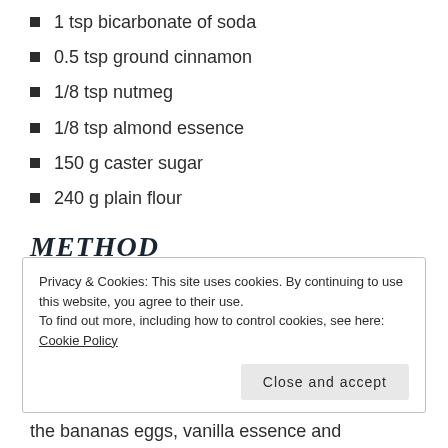1 tsp bicarbonate of soda
0.5 tsp ground cinnamon
1/8 tsp nutmeg
1/8 tsp almond essence
150 g caster sugar
240 g plain flour
METHOD
Privacy & Cookies: This site uses cookies. By continuing to use this website, you agree to their use.
To find out more, including how to control cookies, see here: Cookie Policy
the bananas eggs, vanilla essence and